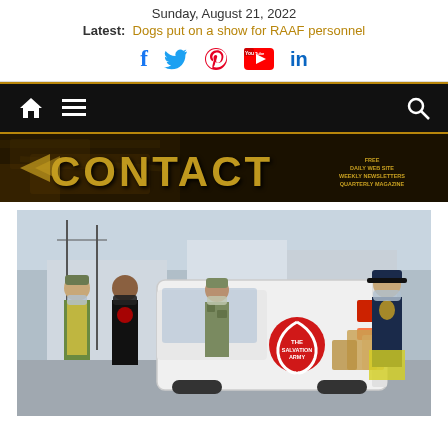Sunday, August 21, 2022
Latest: Dogs put on a show for RAAF personnel
[Figure (screenshot): Social media icons: Facebook, Twitter, Pinterest, YouTube, LinkedIn]
[Figure (screenshot): Navigation bar with home icon, hamburger menu, and search icon on dark background with gold borders]
[Figure (logo): CONTACT magazine banner logo with distressed gold texture text on dark background, tagline: FREE DAILY WEB SITE, WEEKLY NEWSLETTERS, QUARTERLY MAGAZINE]
[Figure (photo): Outdoor scene showing people including Salvation Army volunteer, military personnel in camouflage uniforms and masks, and a police officer, unloading bags from a white Salvation Army van on a street]